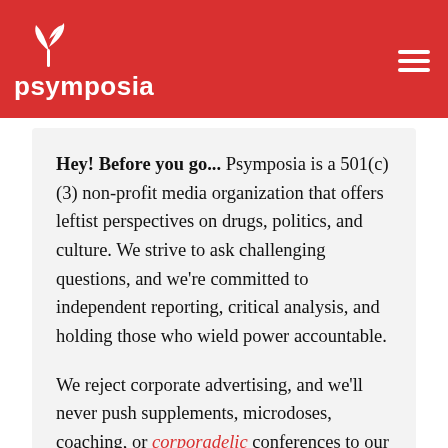psymposia
Hey! Before you go... Psymposia is a 501(c)(3) non-profit media organization that offers leftist perspectives on drugs, politics, and culture. We strive to ask challenging questions, and we're committed to independent reporting, critical analysis, and holding those who wield power accountable.
We reject corporate advertising, and we'll never push supplements, microdoses, coaching, or corporadelic conferences to our audience.